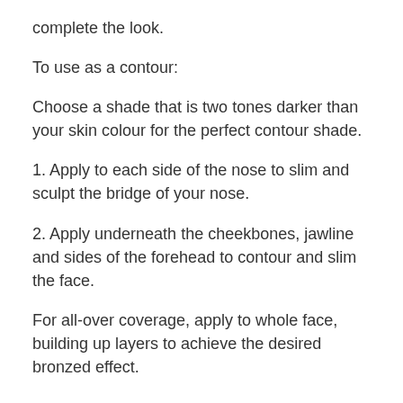complete the look.
To use as a contour:
Choose a shade that is two tones darker than your skin colour for the perfect contour shade.
1. Apply to each side of the nose to slim and sculpt the bridge of your nose.
2. Apply underneath the cheekbones, jawline and sides of the forehead to contour and slim the face.
For all-over coverage, apply to whole face, building up layers to achieve the desired bronzed effect.
The Mineral Bronzer can also be used as a body bronzer. Buff onto the body using the Vegan Kabuki Brush, or by mixing